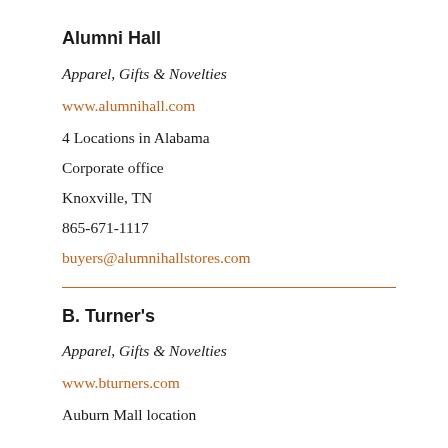Alumni Hall
Apparel, Gifts & Novelties
www.alumnihall.com
4 Locations in Alabama
Corporate office
Knoxville, TN
865-671-1117
buyers@alumnihallstores.com
B. Turner's
Apparel, Gifts & Novelties
www.bturners.com
Auburn Mall location